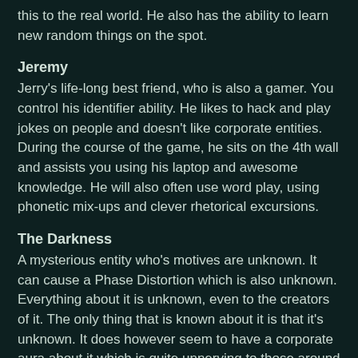this to the real world. He also has the ability to learn new random things on the spot.
Jeremy
Jerry's life-long best friend, who is also a gamer. You control his identifier ability. He likes to hack and play jokes on people and doesn't like corporate entities. During the course of the game, he sits on the 4th wall and assists you using his laptop and awesome knowledge. He will also often use word play, using phonetic mix-ups and clever rhetorical excursions.
The Darkness
A mysterious entity who's motives are unknown. It can cause a Phase Distortion which is also unknown. Everything about it is unknown, even to the creators of it. The only thing that is known about it is that it's unknown. It does however seem to have a corporate aura about it which is quite unnerving to those around it.
Hexor
He seems to be in league with the unknown entity. Like